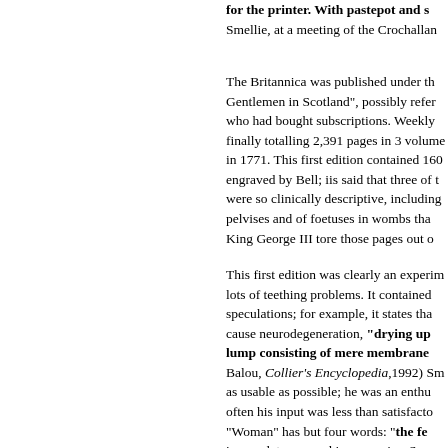for the printer. With pastepot and sc Smellie, at a meeting of the Crochallan
The Britannica was published under th Gentlemen in Scotland", possibly refer who had bought subscriptions. Weekly finally totalling 2,391 pages in 3 volume in 1771. This first edition contained 160 engraved by Bell; iis said that three of t were so clinically descriptive, including pelvises and of foetuses in wombs tha King George III tore those pages out o
This first edition was clearly an experim lots of teething problems. It contained speculations; for example, it states tha cause neurodegeneration, "drying up lump consisting of mere membrane Balou, Collier's Encyclopedia,1992) Sm as usable as possible; he was an enthu often his input was less than satisfacto "Woman" has but four words: "the fe incompleteness and inaccuracies, Sme navigation of the first edition led to str did not participate in the second editio objected to the inclusion of biographic